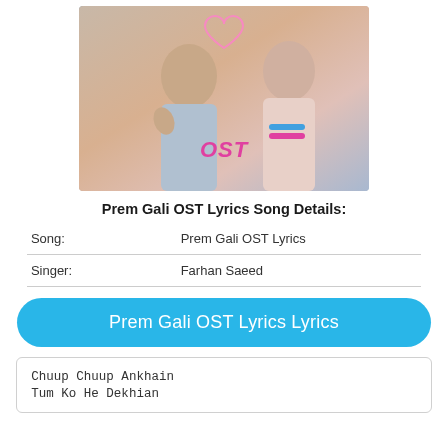[Figure (photo): Promotional photo for Prem Gali OST showing a man waving and a woman, with colorful background and ARY Digital logo, text 'OST' in pink italic at bottom center]
Prem Gali OST Lyrics Song Details:
| Song: | Prem Gali OST Lyrics |
| Singer: | Farhan Saeed |
Prem Gali OST Lyrics Lyrics
Chuup Chuup Ankhain
Tum Ko He Dekhian